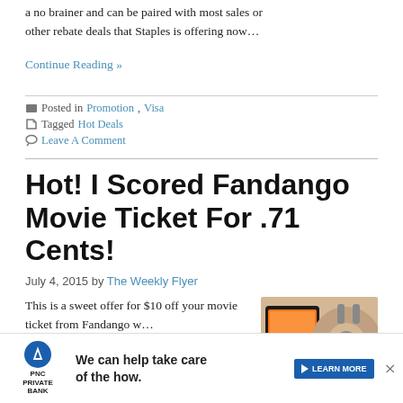a no brainer and can be paired with most sales or other rebate deals that Staples is offering now…
Continue Reading »
Posted in Promotion, Visa
Tagged Hot Deals
Leave A Comment
Hot! I Scored Fandango Movie Ticket For .71 Cents!
July 4, 2015 by The Weekly Flyer
This is a sweet offer for $10 off your movie ticket from Fandango w…
[Figure (photo): Photo of a tablet and headphones on a desk]
[Figure (infographic): PNC Private Bank advertisement banner: 'We can help take care of the how.' with LEARN MORE button]